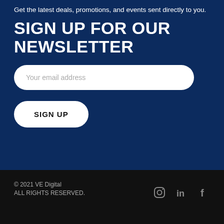Get the latest deals, promotions, and events sent directly to you.
SIGN UP FOR OUR NEWSLETTER
[Figure (other): Email input field with placeholder text 'Your email address']
[Figure (other): Sign Up button]
© 2021 VE Digital
ALL RIGHTS RESERVED.